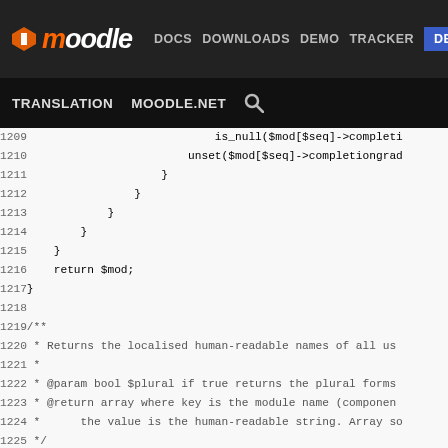Moodle | DOCS DOWNLOADS DEMO TRACKER DEV | TRANSLATION MOODLE.NET
[Figure (screenshot): Moodle developer site navigation bar with logo, nav links (DOCS, DOWNLOADS, DEMO, TRACKER, DEV highlighted), and secondary nav (TRANSLATION, MOODLE.NET, search icon)]
Code viewer showing PHP source lines 1209-1234 from a Moodle source file, including closing braces, return statement, PHPDoc comment block, and function get_module_types_names definition with body.